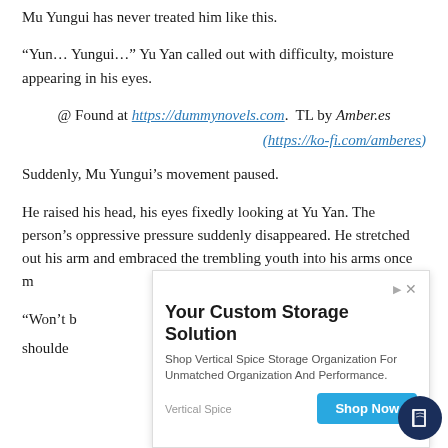Mu Yungui has never treated him like this.
“Yun… Yungui…” Yu Yan called out with difficulty, moisture appearing in his eyes.
@ Found at https://dummynovels.com. TL by Amber.es
(https://ko-fi.com/amberes)
Suddenly, Mu Yungui’s movement paused.
He raised his head, his eyes fixedly looking at Yu Yan. The person’s oppressive pressure suddenly disappeared. He stretched out his arm and embraced the trembling youth into his arms once more
“Won’t b... shoulders
[Figure (other): Advertisement overlay: 'Your Custom Storage Solution - Shop Vertical Spice Storage Organization For Unmatched Organization And Performance.' with a 'Shop Now' button by Vertical Spice.]